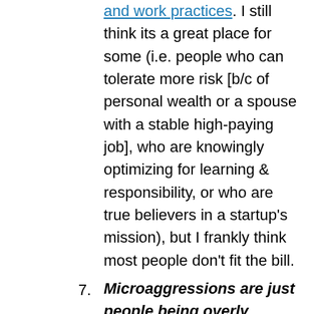and work practices. I still think its a great place for some (i.e. people who can tolerate more risk [b/c of personal wealth or a spouse with a stable high-paying job], who are knowingly optimizing for learning & responsibility, or who are true believers in a startup's mission), but I frankly think most people don't fit the bill.
7. Microaggressions are just people being overly sensitive
I've been blessed at having only rarely faced overt racism (telling me to go back to China 🙄 / or that I don't belong in this country). It's a product of both where I've spent most of my life (in urban areas on the coasts) and my career/socioeconomic status (it's not great to